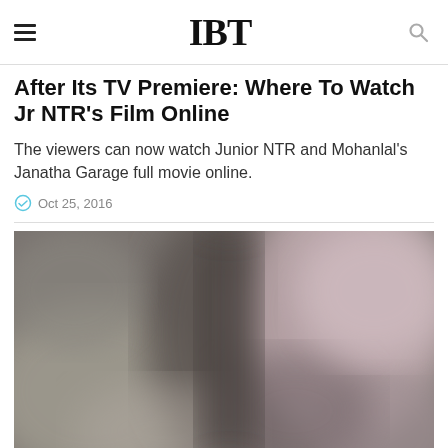IBT
After Its TV Premiere: Where To Watch Jr NTR's Film Online
The viewers can now watch Junior NTR and Mohanlal's Janatha Garage full movie online.
Oct 25, 2016
[Figure (photo): Blurred/out-of-focus photograph, appears to show figures in muted gray, brown and pink tones — movie still or promotional image related to Janatha Garage.]